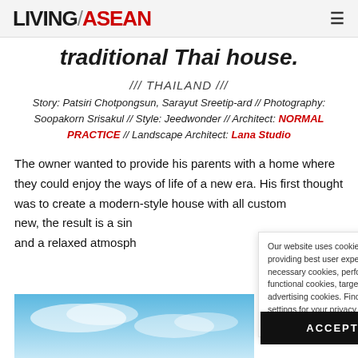LIVING ASEAN
traditional Thai house.
/// THAILAND ///
Story: Patsiri Chotpongsun, Sarayut Sreetip-ard // Photography: Soopakorn Srisakul // Style: Jeedwonder // Architect: NORMAL PRACTICE // Landscape Architect: Lana Studio
The owner wanted to provide his parents with a home where they could enjoy the ways of life of a new era. His first thought was to create a modern-style house with all custom new, the result is a sin and a relaxed atmosph
Our website uses cookies under the purpose of providing best user experiences including strictly necessary cookies, performance cookies, functional cookies, targeting cookies, & advertising cookies. Find more details & cookie settings for your privacy in our Cookie Policy. Read More
[Figure (photo): Blue sky photograph at bottom of page]